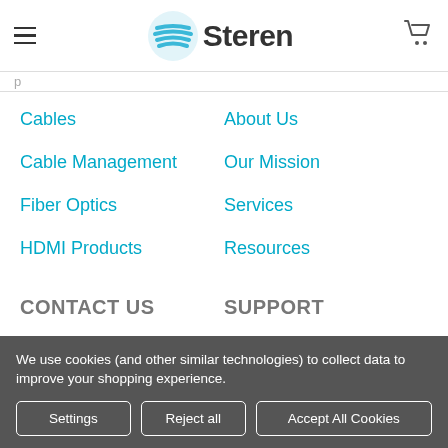Steren
Cables
About Us
Cable Management
Our Mission
Fiber Optics
Services
HDMI Products
Resources
CONTACT US
SUPPORT
We use cookies (and other similar technologies) to collect data to improve your shopping experience.
Settings | Reject all | Accept All Cookies